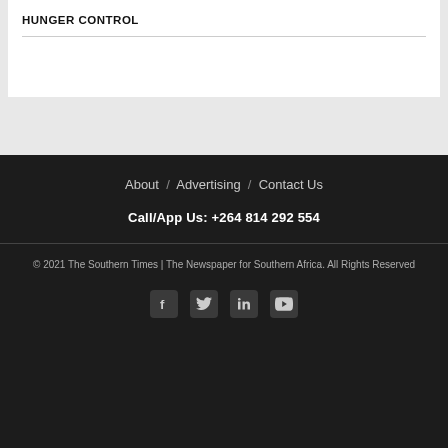HUNGER CONTROL
About / Advertising / Contact Us
Call/App Us: +264 814 292 554
© 2021 The Southern Times | The Newspaper for Southern Africa. All Rights Reserved